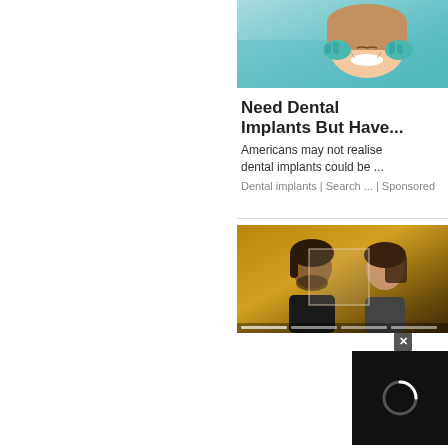[Figure (photo): Woman at dentist office smiling while dentist in teal gloves examines her teeth. Teal/mint background.]
Need Dental Implants But Have...
Americans may not realise dental implants could be ...
Dental implants | Search ... | Sponsored
[Figure (photo): A man and woman couple on a golden/brown background. Below is a video player with progress bar segments and a close button with spinner.]